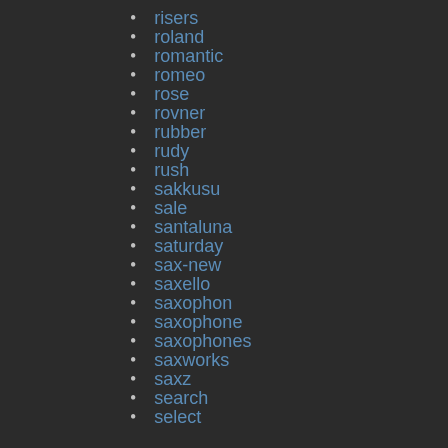risers
roland
romantic
romeo
rose
rovner
rubber
rudy
rush
sakkusu
sale
santaluna
saturday
sax-new
saxello
saxophon
saxophone
saxophones
saxworks
saxz
search
select